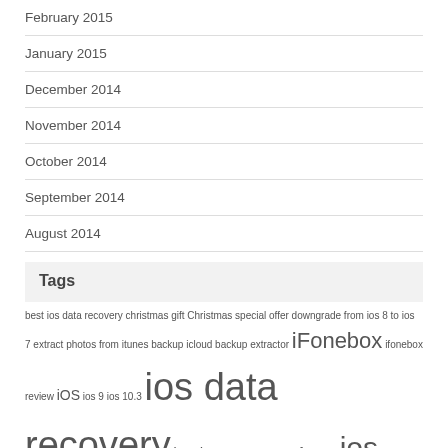February 2015
January 2015
December 2014
November 2014
October 2014
September 2014
August 2014
Tags
best ios data recovery christmas gift Christmas special offer downgrade from ios 8 to ios 7 extract photos from itunes backup icloud backup extractor iFonebox ifonebox review iOS ios 9 ios 10.3 ios data recovery ios data recovery software ios data recovery tool iPad iPad data recovery iPhone iPhone backup extractor iPhone contacts recovery iPhone data recovery iPhone message recovery iPhone messages recovery iPhone notes recovery